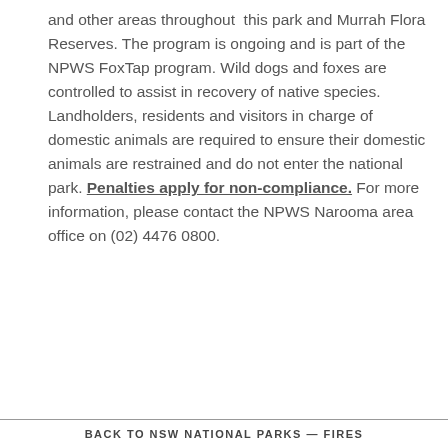and other areas throughout this park and Murrah Flora Reserves. The program is ongoing and is part of the NPWS FoxTap program. Wild dogs and foxes are controlled to assist in recovery of native species. Landholders, residents and visitors in charge of domestic animals are required to ensure their domestic animals are restrained and do not enter the national park. Penalties apply for non-compliance. For more information, please contact the NPWS Narooma area office on (02) 4476 0800.
BACK TO NSW NATIONAL PARKS — FIRES